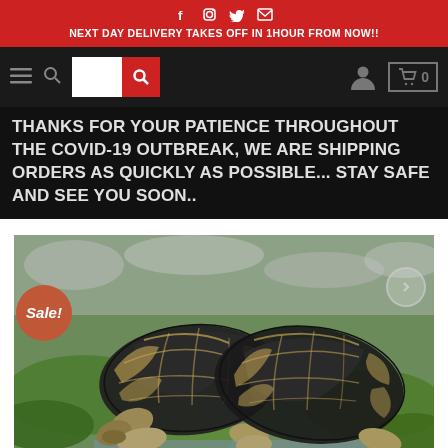f  Instagram  Twitter  Email
NEXT DAY DELIVERY TAKES OFF IN 1HOUR FROM NOW!!
[Figure (screenshot): Website navigation bar with hamburger menu, search icon, search box with red button, user account icon, and shopping cart with 0 items]
THANKS FOR YOUR PATIENCE THROUGHOUT THE COVID-19 OUTBREAK, WE ARE SHIPPING ORDERS AS QUICKLY AS POSSIBLE... STAY SAFE AND SEE YOU SOON..
[Figure (photo): Two tortoises with dark and beige patterned shells on green moss, with a red Sale! badge overlay in the lower left]